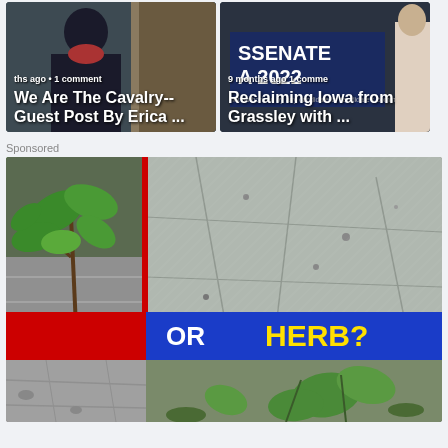[Figure (screenshot): Social media post thumbnail: 'We Are The Cavalry-- Guest Post By Erica ...' with meta text 'months ago • 1 comment']
[Figure (screenshot): Social media post thumbnail: 'Reclaiming Iowa from Grassley with ...' with 'SENATE 2022' sign visible, meta text '9 months ago 1 comment']
Sponsored
[Figure (photo): Advertisement image showing plants growing on stone pavement, with a red and blue banner overlay reading 'OR   HERB?']